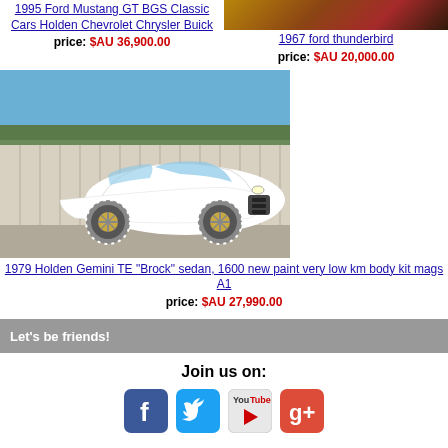1995 Ford Mustang GT BGS Classic Cars Holden Chevrolet Chrysler Buick
price: $AU 36,900.00
[Figure (photo): Partial view of a classic car, cropped at top right]
1967 ford thunderbird
price: $AU 20,000.00
[Figure (photo): 1979 Holden Gemini TE Brock sedan, white car parked outdoors against a corrugated metal wall]
1979 Holden Gemini TE "Brock" sedan, 1600 new paint very low km body kit mags A1
price: $AU 27,990.00
Let's be friends!
Join us on:
[Figure (logo): Social media icons: Facebook, Twitter, YouTube, Google+]